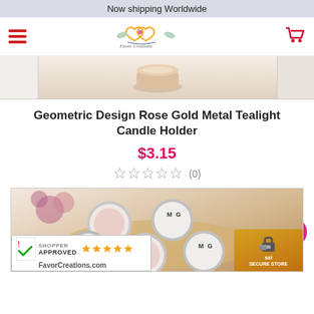Now shipping Worldwide
[Figure (logo): Favor Creations logo with two intertwined hearts and doves]
[Figure (photo): Geometric Design Rose Gold Metal Tealight Candle Holder product image]
Geometric Design Rose Gold Metal Tealight Candle Holder
$3.15
(0)
[Figure (photo): Small round tin candle favors with floral and monogram labels on a gold tray]
[Figure (logo): Shopper Approved badge with 5 stars and FavorCreations.com]
[Figure (other): SSL Secure Store badge]